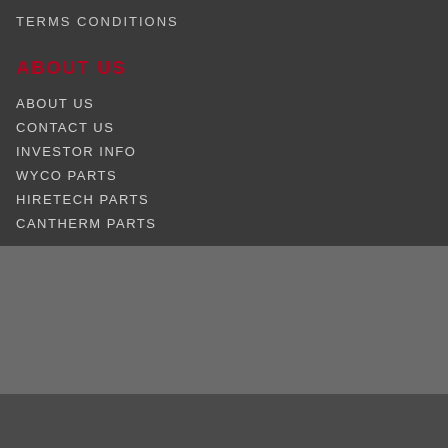TERMS CONDITIONS
ABOUT US
ABOUT US
CONTACT US
INVESTOR INFO
WYCO PARTS
HIRETECH PARTS
CANTHERM PARTS
[Figure (logo): Safe & Secure badge with padlock and checkmark icons]
[Figure (logo): BBB Accredited Business A+ badge]
[Figure (logo): Secure GlobalSign by GMO SSL badge with padlock]
© 2020 CoreCutParts.com All Rights Reserved